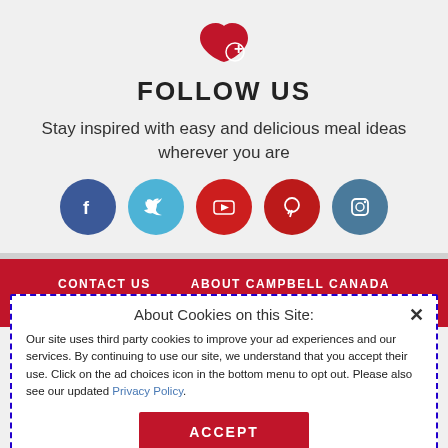[Figure (illustration): Red heart with plus sign icon]
FOLLOW US
Stay inspired with easy and delicious meal ideas wherever you are
[Figure (illustration): Social media icons: Facebook, Twitter, YouTube, Pinterest, Instagram]
CONTACT US    ABOUT CAMPBELL CANADA
About Cookies on this Site:
Our site uses third party cookies to improve your ad experiences and our services. By continuing to use our site, we understand that you accept their use. Click on the ad choices icon in the bottom menu to opt out. Please also see our updated Privacy Policy.
ACCEPT